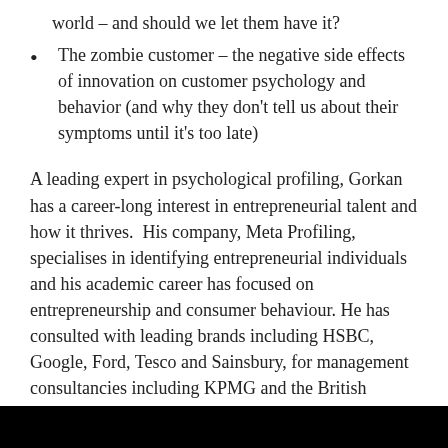world – and should we let them have it?
The zombie customer – the negative side effects of innovation on customer psychology and behavior (and why they don't tell us about their symptoms until it's too late)
A leading expert in psychological profiling, Gorkan has a career-long interest in entrepreneurial talent and how it thrives.  His company, Meta Profiling, specialises in identifying entrepreneurial individuals and his academic career has focused on entrepreneurship and consumer behaviour. He has consulted with leading brands including HSBC, Google, Ford, Tesco and Sainsbury, for management consultancies including KPMG and the British Brands Group, and for the UK Government. Before joining UCL he was Director of Management & Entrepreneurship at Goldsmiths, London.
[Figure (photo): Black bar/image at the bottom of the page]